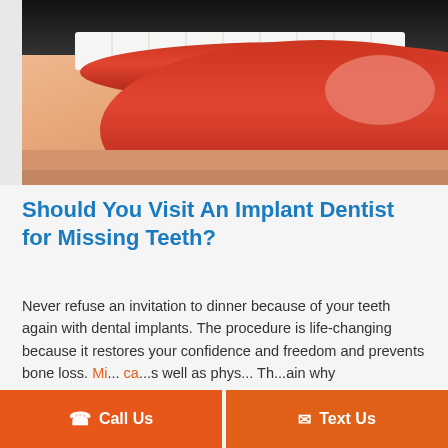[Figure (photo): Close-up photo of a woman's smiling mouth with bright white teeth and red/orange lipstick, tongue slightly visible]
Should You Visit An Implant Dentist for Missing Teeth?
Never refuse an invitation to dinner because of your teeth again with dental implants. The procedure is life-changing because it restores your confidence and freedom and prevents bone loss. Missing teeth can cause as well as physical... The... explain why
[Figure (infographic): Two orange CTA buttons overlaid on the text: 'Call Us' (with phone icon) on the left and 'Text Us' (with envelope icon) on the right]